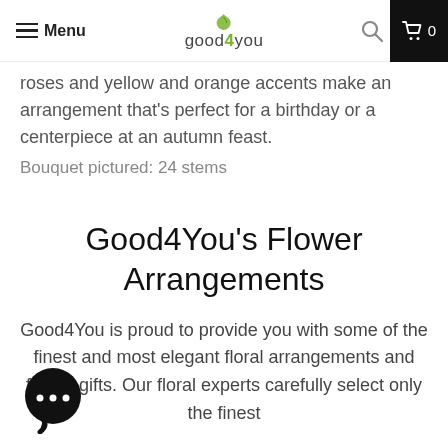Menu | good4you logo | search | cart 0
roses and yellow and orange accents make an arrangement that's perfect for a birthday or a centerpiece at an autumn feast.
Bouquet pictured: 24 stems
Good4You's Flower Arrangements
Good4You is proud to provide you with some of the finest and most elegant floral arrangements and flower gifts. Our floral experts carefully select only the finest quality flowers to be used so that special